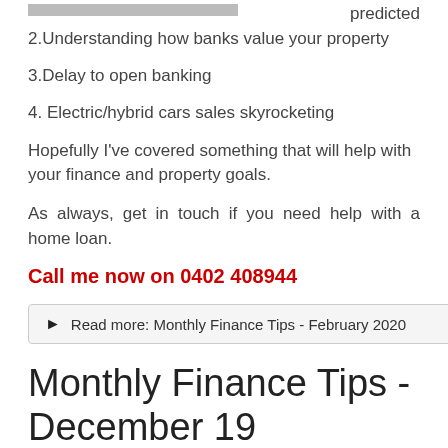[Figure (photo): Partial image visible at top left of page]
predicted
2.Understanding how banks value your property
3.Delay to open banking
4. Electric/hybrid cars sales skyrocketing
Hopefully I've covered something that will help with your finance and property goals.
As always, get in touch if you need help with a home loan.
Call me now on 0402 408944
Read more: Monthly Finance Tips - February 2020
Monthly Finance Tips - December 19